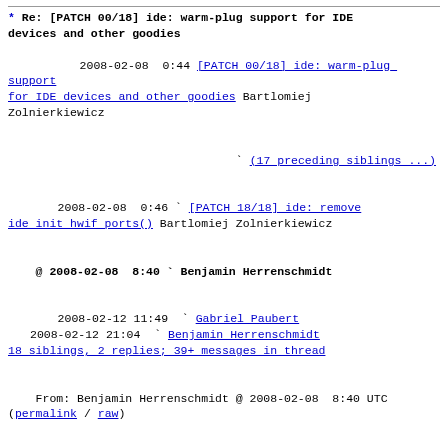* Re: [PATCH 00/18] ide: warm-plug support for IDE devices and other goodies
2008-02-08  0:44  [PATCH 00/18] ide: warm-plug support for IDE devices and other goodies Bartlomiej Zolnierkiewicz
(17 preceding siblings ...)
2008-02-08  0:46  [PATCH 18/18] ide: remove ide init hwif ports() Bartlomiej Zolnierkiewicz
@ 2008-02-08  8:40  Benjamin Herrenschmidt
2008-02-12 11:49  Gabriel Paubert
2008-02-12 21:04  Benjamin Herrenschmidt
18 siblings, 2 replies; 39+ messages in thread
From: Benjamin Herrenschmidt @ 2008-02-08  8:40 UTC
(permalink / raw)
To: Bartlomiej Zolnierkiewicz; +Cc: linux-ide,
linuxppc-dev, linux-kernel
On Fri, 2008-02-08 at 01:44 +0100, Bartlomiej
Zolnierkiewicz wrote:
> - couple of fixes and preparatory patches
>
> - rework of PowerMac media-bay support ([un]register
IDE devices instead of
>   [un]registering IDE interface) [ it is the main
reason for spamming PPC ML ]
Interesting... I was thinking about doing a full remove
of the device at...